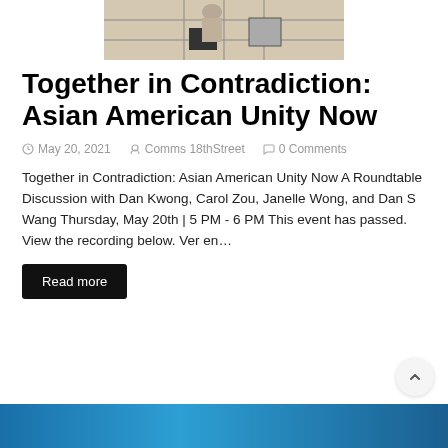[Figure (photo): Grayscale photograph of a person in front of a geometric grid/screen structure]
Together in Contradiction: Asian American Unity Now
May 20, 2021   Comms 18thStreet   0 Comments
Together in Contradiction: Asian American Unity Now A Roundtable Discussion with Dan Kwong, Carol Zou, Janelle Wong, and Dan S Wang Thursday, May 20th | 5 PM - 6 PM This event has passed. View the recording below. Ver en…
Read more
[Figure (photo): Blue gradient background image at the bottom of the page]